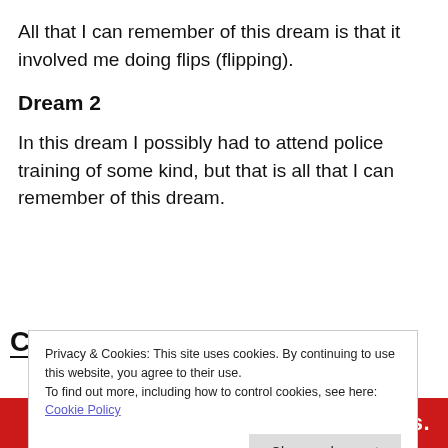All that I can remember of this dream is that it involved me doing flips (flipping).
Dream 2
In this dream I possibly had to attend police training of some kind, but that is all that I can remember of this dream.
Privacy & Cookies: This site uses cookies. By continuing to use this website, you agree to their use.
To find out more, including how to control cookies, see here: Cookie Policy
Close and accept